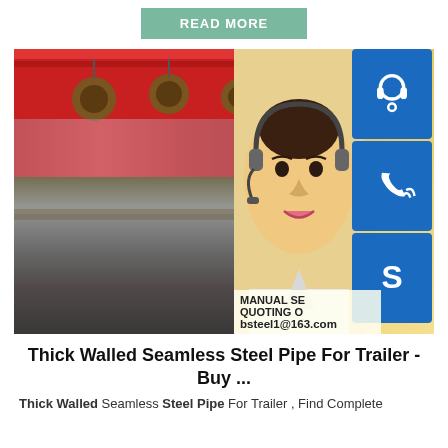READ MORE
[Figure (photo): Industrial steel manufacturing facility with overhead cranes and steel plates, overlaid with a customer service representative and contact icons (headset, phone, Skype). Text reads: MANUAL SE[RVICE], QUOTING O[NLINE], bsteel1@163.com]
Thick Walled Seamless Steel Pipe For Trailer - Buy ...
Thick Walled Seamless Steel Pipe For Trailer , Find Complete